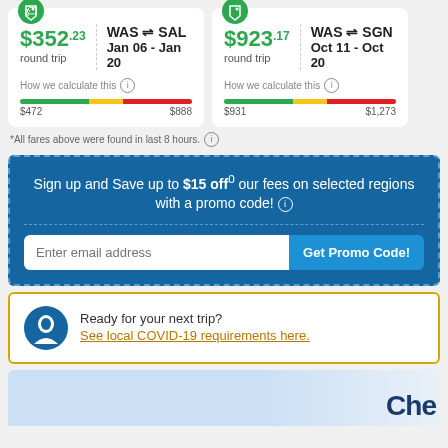[Figure (infographic): Flight deal card: $352.23 round trip, WAS to SAL, Jan 06 - Jan 20, with price bar showing $472 to $888 range]
[Figure (infographic): Flight deal card: $923.17 round trip, WAS to SGN, Oct 11 - Oct 20, with price bar showing $931 to $1,273 range]
*All fares above were found in last 8 hours.
Sign up and Save up to $15 off our fees on selected regions with a promo code!
Enter email address
Get Promo Code!
Ready for your next trip?
See local COVID-19 requirements here.
Book in the CheapOair app!
Che